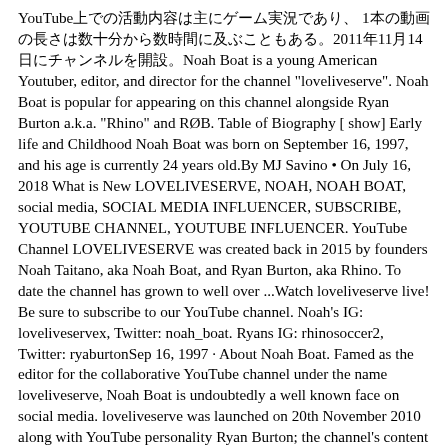YouTube上での活動内容は主にゲーム実況であり、 1本の動画の長さは数十分から数時間に及ぶこともある。2011年11月14日にチャンネルを開設。Noah Boat is a young American Youtuber, editor, and director for the channel "loveliveserve". Noah Boat is popular for appearing on this channel alongside Ryan Burton a.k.a. "Rhino" and RØB. Table of Biography [ show] Early life and Childhood Noah Boat was born on September 16, 1997, and his age is currently 24 years old.By MJ Savino • On July 16, 2018 What is New LOVELIVESERVE, NOAH, NOAH BOAT, social media, SOCIAL MEDIA INFLUENCER, SUBSCRIBE, YOUTUBE CHANNEL, YOUTUBE INFLUENCER. YouTube Channel LOVELIVESERVE was created back in 2015 by founders Noah Taitano, aka Noah Boat, and Ryan Burton, aka Rhino. To date the channel has grown to well over ...Watch loveliveserve live! Be sure to subscribe to our YouTube channel. Noah's IG: loveliveservex, Twitter: noah_boat. Ryans IG: rhinosoccer2, Twitter: ryaburtonSep 16, 1997 · About Noah Boat. Famed as the editor for the collaborative YouTube channel under the name loveliveserve, Noah Boat is undoubtedly a well known face on social media. loveliveserve was launched on 20th November 2010 along with YouTube personality Ryan Burton; the channel's content usually features comedy skits, challenges and other entertaining videos. Welcome to the The LoveLiveServe Wiki! This is a wiki based off the YouTube channel, loveliveserve! LoveLiveServe is a YouTube channel with over 7 million subscribers and mainly ran by two people, Rhino and Noah Boat,